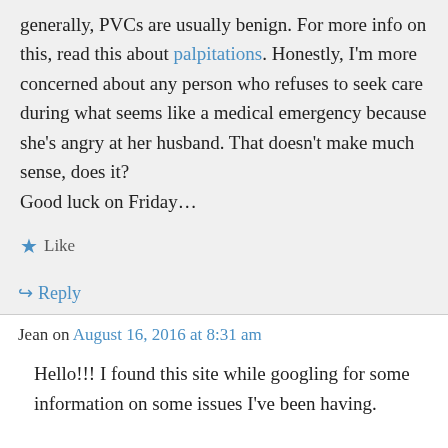generally, PVCs are usually benign. For more info on this, read this about palpitations. Honestly, I'm more concerned about any person who refuses to seek care during what seems like a medical emergency because she's angry at her husband. That doesn't make much sense, does it?
Good luck on Friday…
★ Like
↪ Reply
Jean on August 16, 2016 at 8:31 am
Hello!!! I found this site while googling for some information on some issues I've been having.